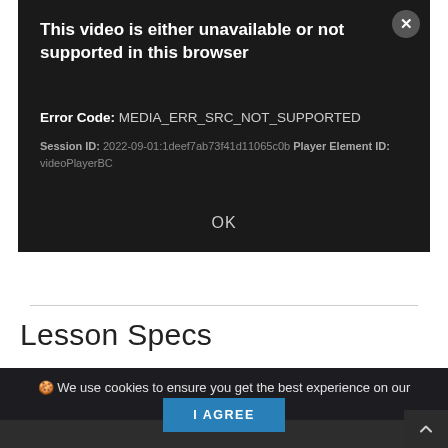[Figure (screenshot): Video player error dialog on dark background. Shows error title, error code, session ID, and OK button. Close button (X) in top right corner.]
This video is either unavailable or not supported in this browser
Error Code: MEDIA_ERR_SRC_NOT_SUPPORTED
Session ID: 2022-09-01:1deef7ab73f41d11065c0b Player Element ID: videoPlayerBC
OK
Lesson Specs
🍪 We use cookies to ensure you get the best experience on our website. Learn more
I AGREE